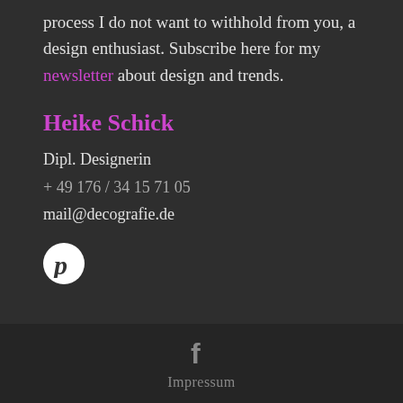process I do not want to withhold from you, a design enthusiast. Subscribe here for my newsletter about design and trends.
Heike Schick
Dipl. Designerin
+ 49 176 / 34 15 71 05
mail@decografie.de
[Figure (logo): Pinterest logo button - white circle with letter P]
[Figure (logo): Facebook logo icon - grey f letter]
Impressum